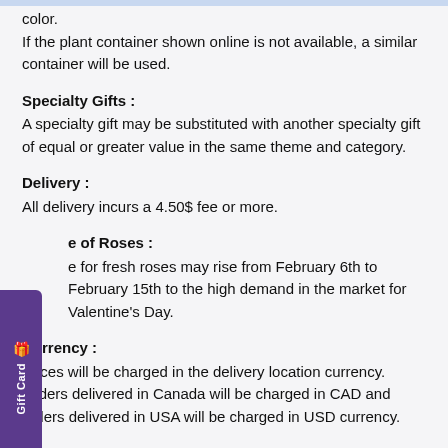color.
If the plant container shown online is not available, a similar container will be used.
Specialty Gifts :
A specialty gift may be substituted with another specialty gift of equal or greater value in the same theme and category.
Delivery :
All delivery incurs a 4.50$ fee or more.
e of Roses :
e for fresh roses may rise from February 6th to February 15th to the high demand in the market for Valentine's Day.
Currency :
Prices will be charged in the delivery location currency.   Orders delivered in Canada will be charged in CAD and orders delivered in USA will be charged in USD currency.